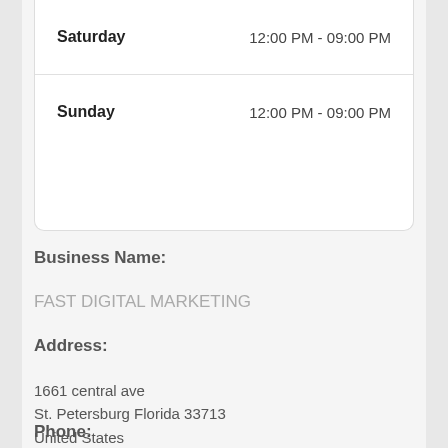| Day | Hours |
| --- | --- |
| Saturday | 12:00 PM - 09:00 PM |
| Sunday | 12:00 PM - 09:00 PM |
Business Name:
FAST DIGITAL MARKETING
Address:
1661 central ave
St. Petersburg Florida 33713
United States
Phone: